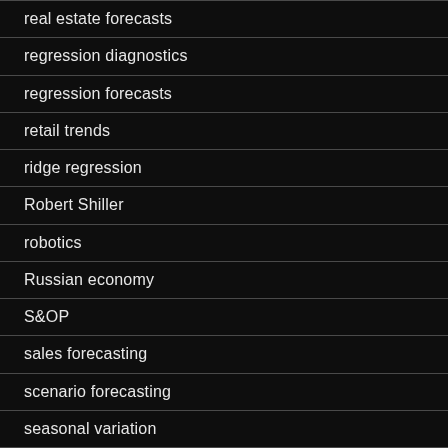real estate forecasts
regression diagnostics
regression forecasts
retail trends
ridge regression
Robert Shiller
robotics
Russian economy
S&OP
sales forecasting
scenario forecasting
seasonal variation